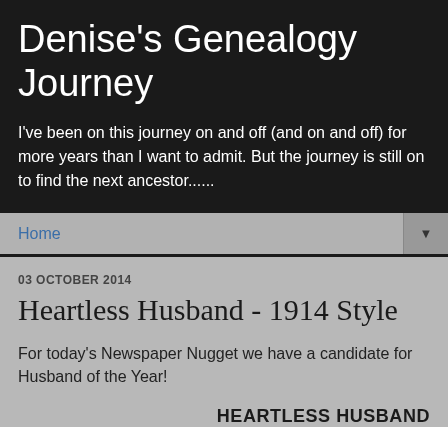Denise's Genealogy Journey
I've been on this journey on and off (and on and off) for more years than I want to admit. But the journey is still on to find the next ancestor......
Home
03 OCTOBER 2014
Heartless Husband - 1914 Style
For today's Newspaper Nugget we have a candidate for Husband of the Year!
HEARTLESS HUSBAND